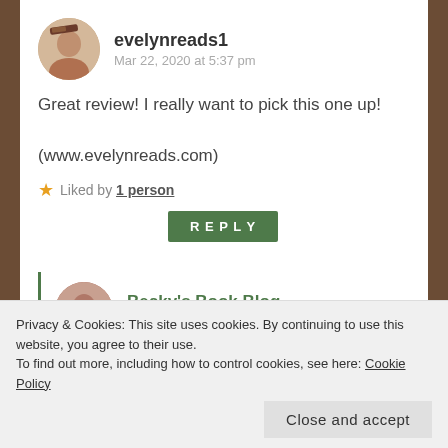evelynreads1
Mar 22, 2020 at 5:37 pm
Great review! I really want to pick this one up!

(www.evelynreads.com)
Liked by 1 person
REPLY
Becky's Book Blog
Mar 22, 2020 at 5:44 pm
Thanks! I hope you love it 😊
Privacy & Cookies: This site uses cookies. By continuing to use this website, you agree to their use.
To find out more, including how to control cookies, see here: Cookie Policy
Close and accept